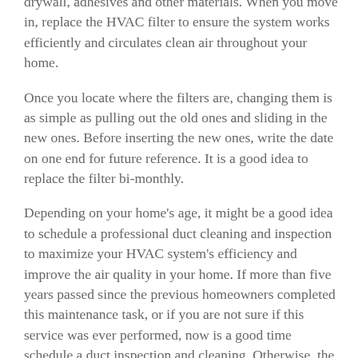drywall, adhesives and other materials. When you move in, replace the HVAC filter to ensure the system works efficiently and circulates clean air throughout your home.
Once you locate where the filters are, changing them is as simple as pulling out the old ones and sliding in the new ones. Before inserting the new ones, write the date on one end for future reference. It is a good idea to replace the filter bi-monthly.
Depending on your home's age, it might be a good idea to schedule a professional duct cleaning and inspection to maximize your HVAC system's efficiency and improve the air quality in your home. If more than five years passed since the previous homeowners completed this maintenance task, or if you are not sure if this service was ever performed, now is a good time schedule a duct inspection and cleaning. Otherwise, the HVAC system may have to work harder to keep your home comfortable, which could shorten its life.
3. Schedule a Professional Maintenance and Inspection
Waiting until the HVAC system has a problem to call a professional could backfire on you because you might find yourself without heat on the coldest winter day. If your home is not brand new, hire an